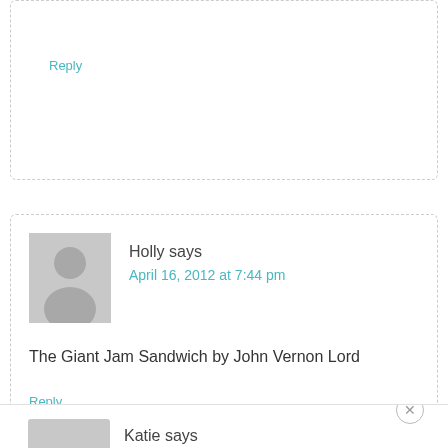Reply
Holly says
April 16, 2012 at 7:44 pm
The Giant Jam Sandwich by John Vernon Lord
Reply
Katie says